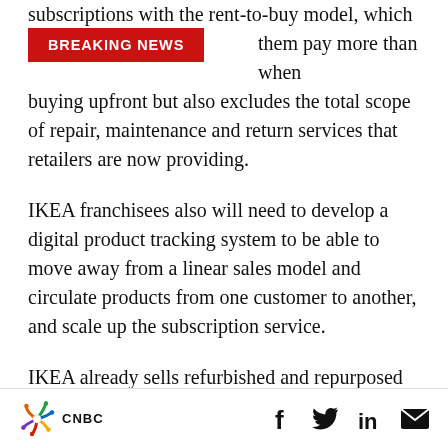BREAKING NEWS
subscriptions with the rent-to-buy model, which them pay more than when buying upfront but also excludes the total scope of repair, maintenance and return services that retailers are now providing.
IKEA franchisees also will need to develop a digital product tracking system to be able to move away from a linear sales model and circulate products from one customer to another, and scale up the subscription service.
IKEA already sells refurbished and repurposed products in certain markets and plans to expand
CNBC | Share icons: Facebook, Twitter, LinkedIn, Email